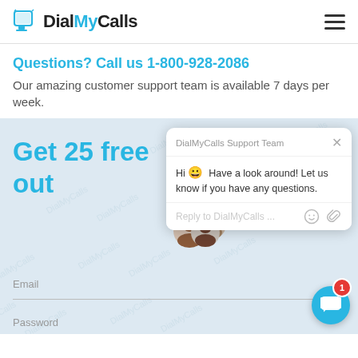DialMyCalls
Questions? Call us 1-800-928-2086
Our amazing customer support team is available 7 days per week.
Get 25 free out
[Figure (screenshot): DialMyCalls chat support popup showing team name, greeting message with smiley emoji, and reply input field with emoji and attachment icons]
Email
Password